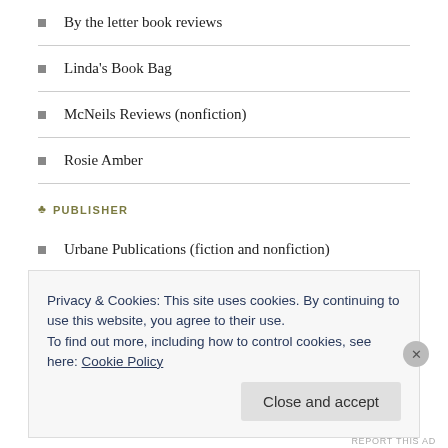By the letter book reviews
Linda's Book Bag
McNeils Reviews (nonfiction)
Rosie Amber
PUBLISHER
Urbane Publications (fiction and nonfiction)
Search...
ARCHIVES
March 2020
Privacy & Cookies: This site uses cookies. By continuing to use this website, you agree to their use.
To find out more, including how to control cookies, see here: Cookie Policy
Close and accept